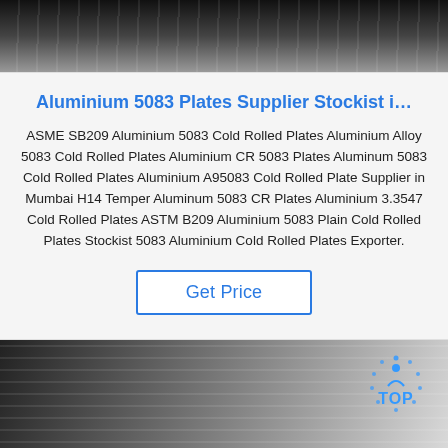[Figure (photo): Close-up photo of aluminium/metal sheets with ridged surface, dark to light gradient, top portion of page]
Aluminium 5083 Plates Supplier Stockist i…
ASME SB209 Aluminium 5083 Cold Rolled Plates Aluminium Alloy 5083 Cold Rolled Plates Aluminium CR 5083 Plates Aluminum 5083 Cold Rolled Plates Aluminium A95083 Cold Rolled Plate Supplier in Mumbai H14 Temper Aluminum 5083 CR Plates Aluminium 3.3547 Cold Rolled Plates ASTM B209 Aluminium 5083 Plain Cold Rolled Plates Stockist 5083 Aluminium Cold Rolled Plates Exporter.
Get Price
[Figure (photo): Photo of aluminium plates being held/displayed, with a TOP logo/icon overlay in the bottom right corner]